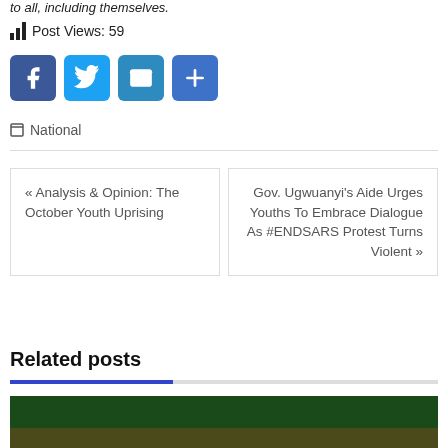to all, including themselves.
Post Views: 59
[Figure (other): Social share buttons: Facebook, Twitter, Email, Share]
National
« Analysis & Opinion: The October Youth Uprising
Gov. Ugwuanyi's Aide Urges Youths To Embrace Dialogue As #ENDSARS Protest Turns Violent »
Related posts
[Figure (photo): Related post thumbnail image with dark green background]